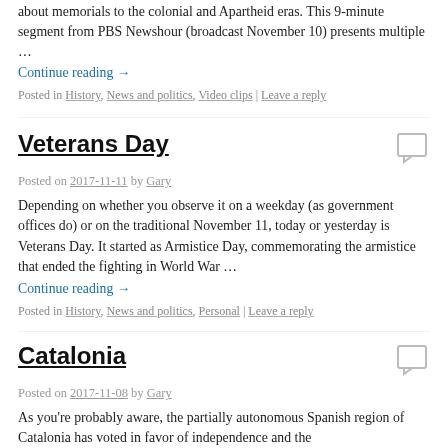about memorials to the colonial and Apartheid eras. This 9-minute segment from PBS Newshour (broadcast November 10) presents multiple …
Continue reading →
Posted in History, News and politics, Video clips | Leave a reply
Veterans Day
Posted on 2017-11-11 by Gary
Depending on whether you observe it on a weekday (as government offices do) or on the traditional November 11, today or yesterday is Veterans Day. It started as Armistice Day, commemorating the armistice that ended the fighting in World War …
Continue reading →
Posted in History, News and politics, Personal | Leave a reply
Catalonia
Posted on 2017-11-08 by Gary
As you're probably aware, the partially autonomous Spanish region of Catalonia has voted in favor of independence and the